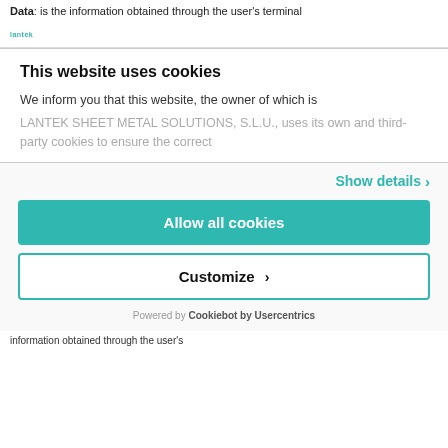Data: is the information obtained through the user's terminal
[Figure (logo): Lantek logo in teal/cyan color]
This website uses cookies
We inform you that this website, the owner of which is LANTEK SHEET METAL SOLUTIONS, S.L.U., uses its own and third-party cookies to ensure the correct
Show details
Allow all cookies
Customize
Powered by Cookiebot by Usercentrics
information obtained through the user's